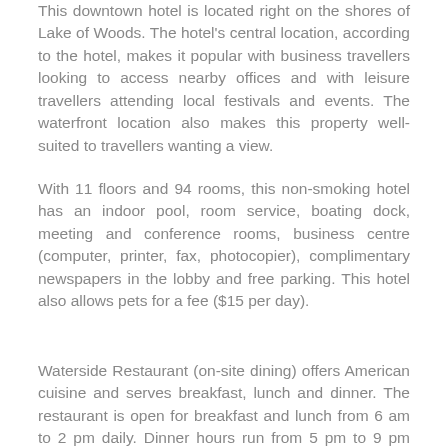This downtown hotel is located right on the shores of Lake of Woods. The hotel's central location, according to the hotel, makes it popular with business travellers looking to access nearby offices and with leisure travellers attending local festivals and events. The waterfront location also makes this property well-suited to travellers wanting a view.
With 11 floors and 94 rooms, this non-smoking hotel has an indoor pool, room service, boating dock, meeting and conference rooms, business centre (computer, printer, fax, photocopier), complimentary newspapers in the lobby and free parking. This hotel also allows pets for a fee ($15 per day).
Waterside Restaurant (on-site dining) offers American cuisine and serves breakfast, lunch and dinner. The restaurant is open for breakfast and lunch from 6 am to 2 pm daily. Dinner hours run from 5 pm to 9 pm daily, with the exception on Friday, where dinner service runs from 5 pm to 10 pm. The Waterside Lounge, directly